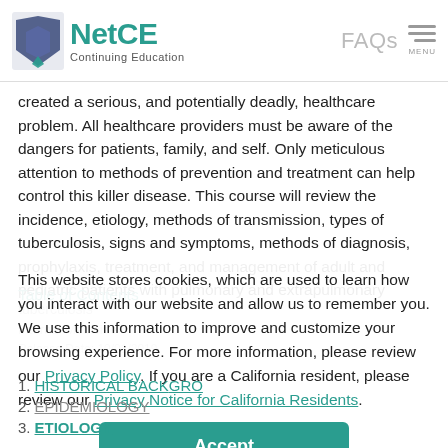NetCE Continuing Education | FAQs MENU
created a serious, and potentially deadly, healthcare problem. All healthcare providers must be aware of the dangers for patients, family, and self. Only meticulous attention to methods of prevention and treatment can help control this killer disease. This course will review the incidence, etiology, methods of transmission, types of tuberculosis, signs and symptoms, methods of diagnosis, prophylaxis, treatment, and management of adult and pediatric patients with pulmonary and extrapulmonary tuberculosis
This website stores cookies, which are used to learn how you interact with our website and allow us to remember you. We use this information to improve and customize your browsing experience. For more information, please review our Privacy Policy. If you are a California resident, please review our Privacy Notice for California Residents.
Accept
Table of Contents
1. HISTORICAL BACKGROUND
2. EPIDEMIOLOGY
3. ETIOLOGY